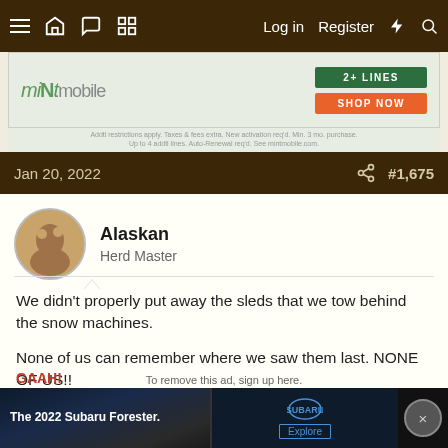Log in  Register
[Figure (infographic): Mint Mobile advertisement banner with green and orange buttons reading '2+ LINES' and 'SHOP NOW']
Jan 20, 2022  #1,675
Alaskan
Herd Master
We didn't properly put away the sleds that we tow behind the snow machines.

None of us can remember where we saw them last. NONE OF US!!

So here we are, ANOTHER day of digging in snow... here... then there... then there...
[Figure (photo): The 2022 Subaru Forester advertisement at bottom of page showing car interior and Subaru logo]